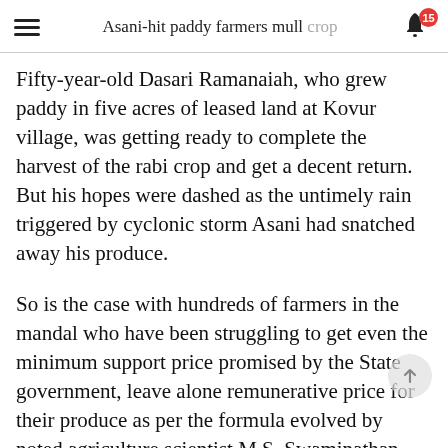Asani-hit paddy farmers mull crop
Fifty-year-old Dasari Ramanaiah, who grew paddy in five acres of leased land at Kovur village, was getting ready to complete the harvest of the rabi crop and get a decent return. But his hopes were dashed as the untimely rain triggered by cyclonic storm Asani had snatched away his produce.
So is the case with hundreds of farmers in the mandal who have been struggling to get even the minimum support price promised by the State government, leave alone remunerative price for their produce as per the formula evolved by noted agriculture scientist M.S. Swaminathan.
Relaxing the norms, the State government should ensure